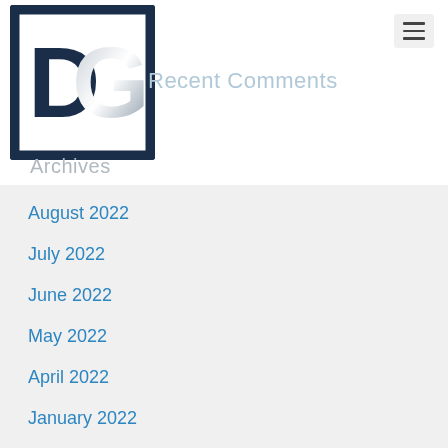[Figure (logo): DG logo – dark navy blue square border with bold D and metallic G letters inside]
Recent Comments
Archives
August 2022
July 2022
June 2022
May 2022
April 2022
January 2022
December 2021